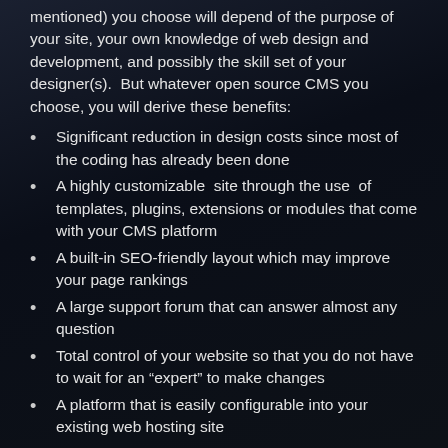mentioned) you choose will depend of the purpose of your site, your own knowledge of web design and development, and possibly the skill set of your designer(s).  But whatever open source CMS you choose, you will derive these benefits:
Significant reduction in design costs since most of the coding has already been done
A highly customizable  site through the use  of templates, plugins, extensions or modules that come with your CMS platform
A built-in SEO-friendly layout which may improve your page rankings
A large support forum that can answer almost any question
Total control of your website so that you do not have to wait for an “expert” to make changes
A platform that is easily configurable into your existing web hosting site
Need more information about choosing a CMS?